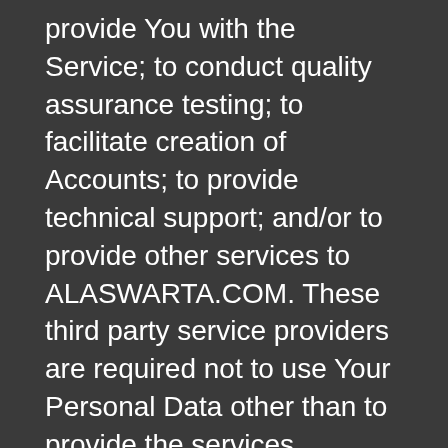provide You with the Service; to conduct quality assurance testing; to facilitate creation of Accounts; to provide technical support; and/or to provide other services to ALASWARTA.COM. These third party service providers are required not to use Your Personal Data other than to provide the services requested by ALASWARTA.COM.
(c) Affiliates
We may share some or all of Your Personal Data with Our parent company, subsidiaries, joint ventures, or other companies under